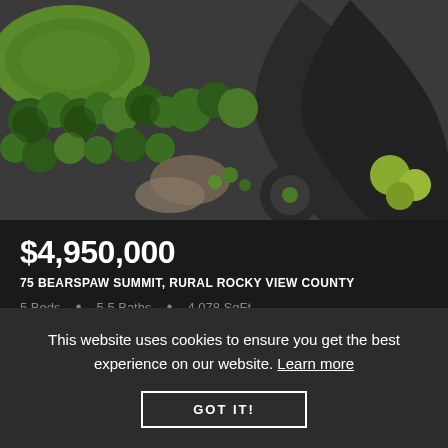[Figure (photo): Aerial view of a property with green landscaping, trees, and a curved dark driveway]
$4,950,000
75 BEARSPAW SUMMIT, RURAL ROCKY VIEW COUNTY
5 Beds • 5.5 Baths • 4,078 SqFt
RE/MAX FIRST
This website uses cookies to ensure you get the best experience on our website. Learn more
GOT IT!